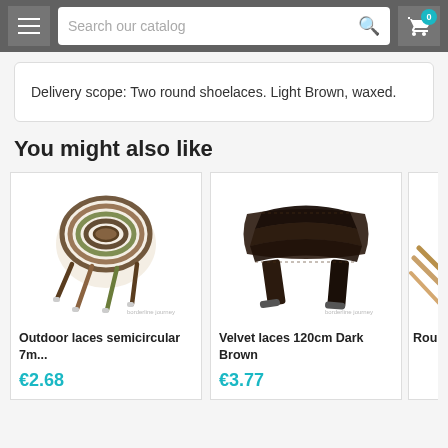Search our catalog
Delivery scope: Two round shoelaces. Light Brown, waxed.
You might also like
[Figure (photo): Outdoor laces semicircular 7m... - brown/camo round shoelaces coiled up]
Outdoor laces semicircular 7m...
€2.68
[Figure (photo): Velvet laces 120cm Dark Brown - flat dark brown velvet shoelaces laid out]
Velvet laces 120cm Dark Brown
€3.77
[Figure (photo): Round laces - partially visible third product card]